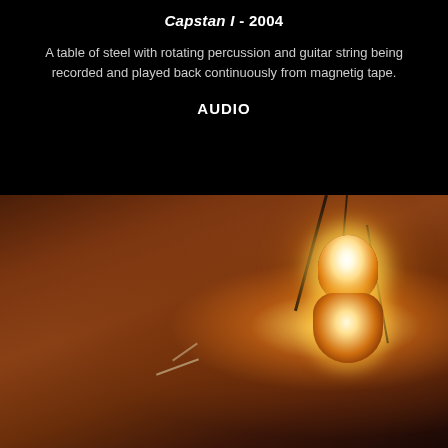Capstan I - 2004
A table of steel with rotating percussion and guitar string being recorded and played back continuously from magnetig tape.
AUDIO
[Figure (photo): Photograph of a glowing electronic component or bulb mounted on a warm brown wooden surface, with dark wires trailing from it. The scene is dimly lit with the light source creating a warm amber/orange glow against the dark reddish-brown background.]